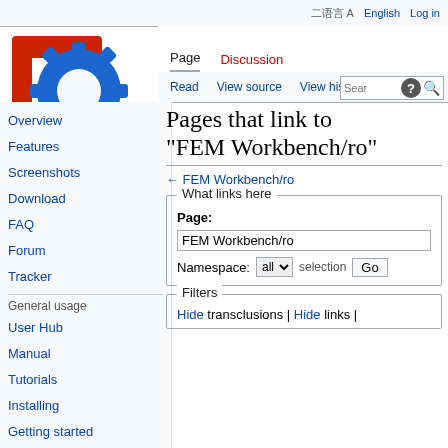English  Log in
Page  Discussion  Read  View source  View history  Search  Help
[Figure (logo): FreeCAD logo: red F with blue gear]
Pages that link to "FEM Workbench/ro"
← FEM Workbench/ro
What links here
Page: FEM Workbench/ro
Namespace: all
selection Go
Filters
Hide transclusions | Hide links |
Overview
Features
Screenshots
Download
FAQ
Forum
Tracker
General usage
User Hub
Manual
Tutorials
Installing
Getting started